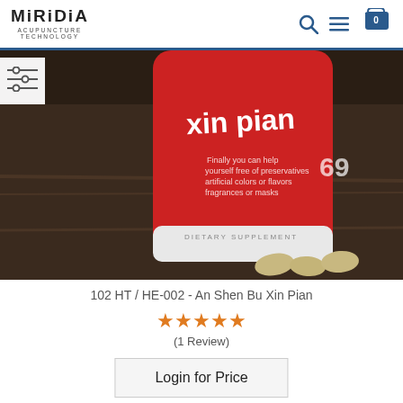MiRiDiA Acupuncture Technology
[Figure (photo): Close-up photo of a red supplement bottle labeled 'xin pian' with dietary supplement text and the number 69, with several round tan tablets on a dark wooden surface beside it.]
102 HT / HE-002 - An Shen Bu Xin Pian
★★★★★ (1 Review)
Login for Price